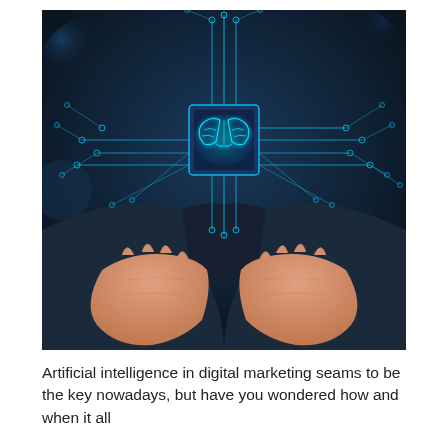[Figure (photo): A person in a dark suit holding out cupped hands, above which floats a glowing blue circuit board with a brain icon in the center, surrounded by electronic circuit traces extending outward, representing artificial intelligence.]
Artificial intelligence in digital marketing seams to be the key nowadays, but have you wondered how and when it all